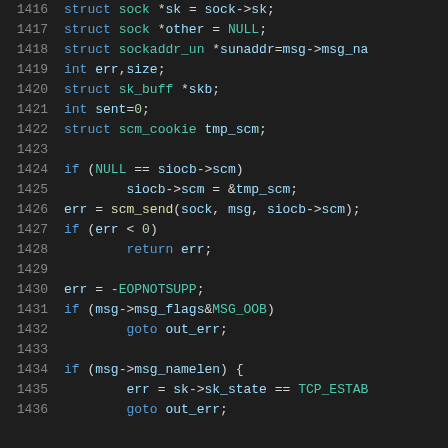[Figure (screenshot): Source code listing of a C function showing lines 1416-1436, displaying variable declarations and conditional logic for Unix socket messaging in Linux kernel code. Syntax highlighting with dark background.]